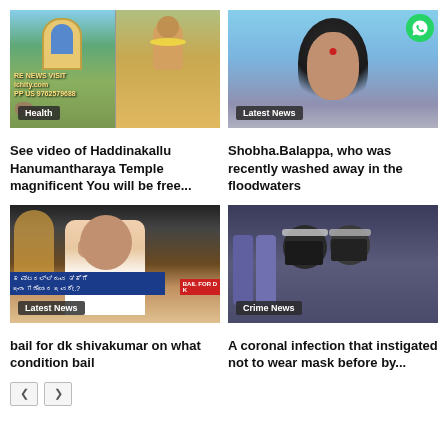[Figure (photo): Haddinakallu Hanumantharaya Temple image with Health badge, two images side by side showing temple exterior and deity]
See video of Haddinakallu Hanumantharaya Temple magnificent You will be free...
[Figure (photo): Close-up of woman's face with bindi, Latest News badge, WhatsApp icon overlay]
Shobha.Balappa, who was recently washed away in the floodwaters
[Figure (photo): DK Shivakumar with hand on face, Kannada text overlay, BAIL FOR DK text, Latest News badge]
bail for dk shivakumar on what condition bail
[Figure (photo): People wearing masks on what appears to be an airplane, Crime News badge]
A coronal infection that instigated not to wear mask before by...